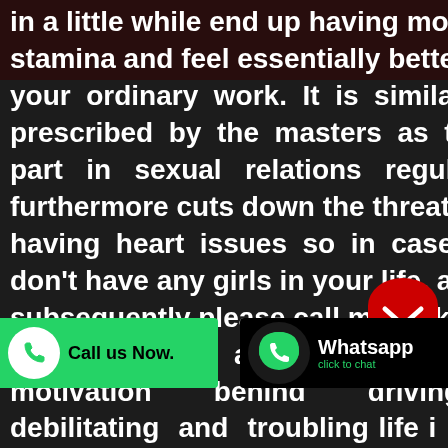in a little while end up having more stamina and feel essentially better in your ordinary work. It is similarly prescribed by the masters as taking part in sexual relations regularly furthermore cuts down the threat of having heart issues so in case you don't have any girls in your life, and subsequently please call me. Taking everything into account, what's the motivation behind driving a debilitating and troubling life i u not sporadically s lulled in it? The paces of our girls
[Figure (other): WhatsApp click to chat button overlay with green WhatsApp logo icon and text 'Whatsapp click to chat' on black background]
[Figure (other): Green 'Call us Now.' button with phone icon on the left side]